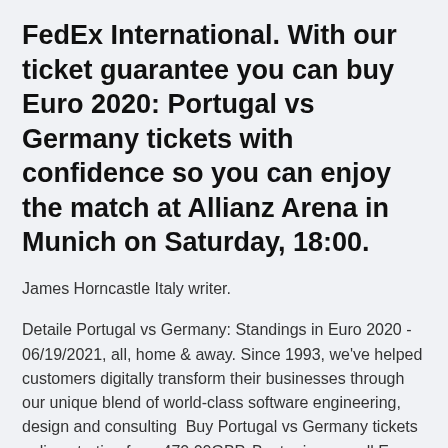FedEx International. With our ticket guarantee you can buy Euro 2020: Portugal vs Germany tickets with confidence so you can enjoy the match at Allianz Arena in Munich on Saturday, 18:00.
James Horncastle Italy writer.
Detaile Portugal vs Germany: Standings in Euro 2020 - 06/19/2021, all, home & away. Since 1993, we've helped customers digitally transform their businesses through our unique blend of world-class software engineering, design and consulting  Buy Portugal vs Germany tickets online starting from 470.00GBP. Best prices on all Euro 2020/2021 matches on TicketKosta.com. EURO 2020 - Portugal vs Germany. 2,5 hour table with special